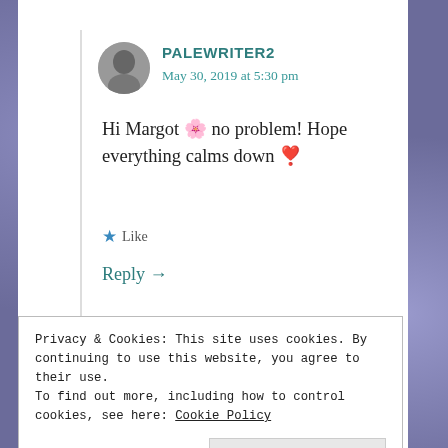PALEWRITER2
May 30, 2019 at 5:30 pm
Hi Margot 🌸 no problem! Hope everything calms down ❣
★ Like
Reply →
Privacy & Cookies: This site uses cookies. By continuing to use this website, you agree to their use.
To find out more, including how to control cookies, see here: Cookie Policy
Close and accept